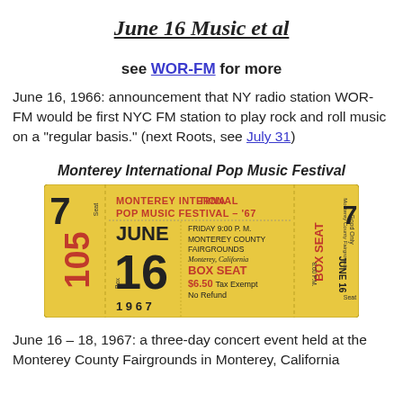June 16 Music et al
see WOR-FM for more
June 16, 1966: announcement that NY radio station WOR-FM would be first NYC FM station to play rock and roll music on a "regular basis." (next Roots, see July 31)
Monterey International Pop Music Festival
[Figure (photo): A yellow admission ticket for the Monterey International Pop Music Festival '67, Friday June 16, 9:00 P.M., Monterey County Fairgrounds, Monterey, California. Box Seat $6.50 Tax Exempt No Refund. Seat 7, Box 105.]
June 16 – 18, 1967: a three-day concert event held at the Monterey County Fairgrounds in Monterey, California